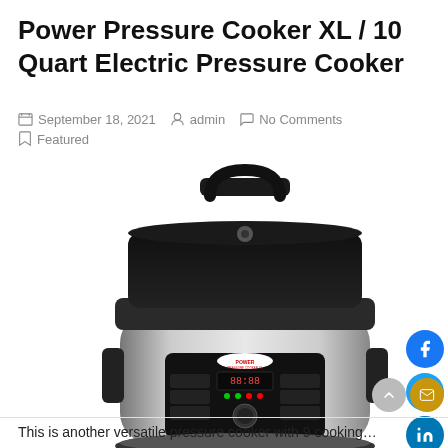Power Pressure Cooker XL / 10 Quart Electric Pressure Cooker
September 18, 2021   admin   No Comments   Featured
[Figure (photo): Power Pressure Cooker XL 10 Quart Electric Pressure Cooker product photo showing a stainless steel electric pressure cooker with black lid, handle, and digital control panel]
This is another versatile pressure cooker with 9 cooking…